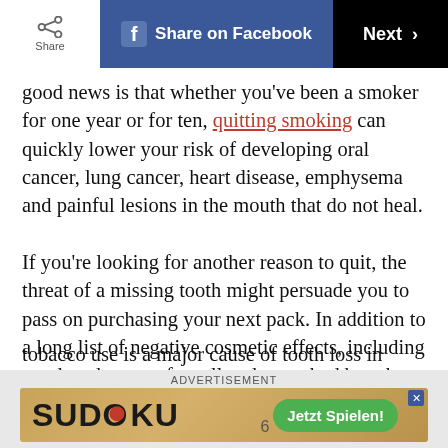Share | Share on Facebook | Next >
good news is that whether you’ve been a smoker for one year or for ten, quitting smoking can quickly lower your risk of developing oral cancer, lung cancer, heart disease, emphysema and painful lesions in the mouth that do not heal.
If you’re looking for another reason to quit, the threat of a missing tooth might persuade you to pass on purchasing your next pack. In addition to a long list of negative cosmetic effects, including a reduced sense of smell and taste, bad breath, a receding gum line and yellow-tinted teeth, tobacco use is a major cause of tooth loss in adults
[Figure (screenshot): Advertisement banner: SUDOKU game ad with 'Jetzt Spielen!' green button]
ADVERTISEMENT